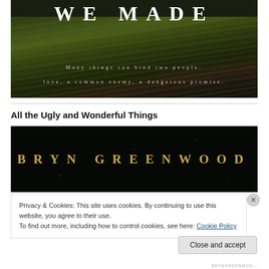[Figure (illustration): Book cover with dark green/black grass background, large white bold title text 'WE MADE' at top, with subtitle text 'Many things can bind two people: love, a common enemy, a dangerous promise.' in spaced serif font]
All the Ugly and Wonderful Things
[Figure (illustration): Book cover bottom portion showing author name 'BRYN GREENWOOD' in gold/amber spaced letters on black background with faint star-like dots]
Privacy & Cookies: This site uses cookies. By continuing to use this website, you agree to their use.
To find out more, including how to control cookies, see here: Cookie Policy
Close and accept